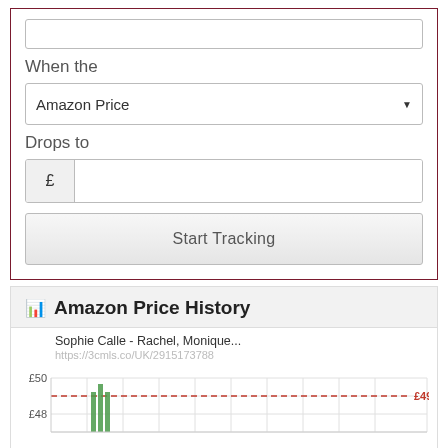When the
Amazon Price
Drops to
£
Start Tracking
Amazon Price History
[Figure (line-chart): Amazon price history line chart. Y-axis shows £48 to £50. A dashed red horizontal line at £49.00. Green bar marks visible near x-axis. URL: https://3cmls.co/UK/2915173788]